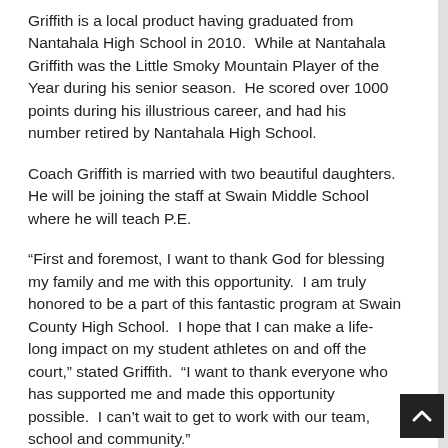Griffith is a local product having graduated from Nantahala High School in 2010.  While at Nantahala Griffith was the Little Smoky Mountain Player of the Year during his senior season.  He scored over 1000 points during his illustrious career, and had his number retired by Nantahala High School.
Coach Griffith is married with two beautiful daughters.  He will be joining the staff at Swain Middle School where he will teach P.E.
“First and foremost, I want to thank God for blessing my family and me with this opportunity.  I am truly honored to be a part of this fantastic program at Swain County High School.  I hope that I can make a life-long impact on my student athletes on and off the court,” stated Griffith.  “I want to thank everyone who has supported me and made this opportunity possible.  I can’t wait to get to work with our team, school and community.”
Toby Burrell Contributed this story